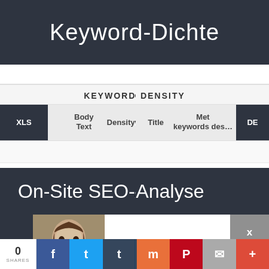Keyword-Dichte
KEYWORD DENSITY
| XLS | Body Text | Density | Title | Meta keywords desc... | DE |
| --- | --- | --- | --- | --- | --- |
On-Site SEO-Analyse
[Figure (screenshot): Chat popup with photo of a young woman and message from KleraFox: Hi cutie ;)]
KleraFox: Hi cutie ;)
0 SHARES | Facebook | Twitter | Tumblr | Mix | Pinterest | Email | Plus